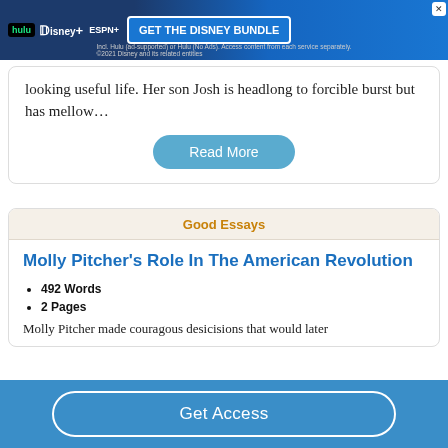[Figure (screenshot): Disney Bundle advertisement banner showing Hulu, Disney+, and ESPN+ logos with 'GET THE DISNEY BUNDLE' call to action button]
looking useful life. Her son Josh is headlong to forcible burst but has mellow…
Read More
Good Essays
Molly Pitcher's Role In The American Revolution
492 Words
2 Pages
Molly Pitcher made couragous desicisions that would later
Get Access